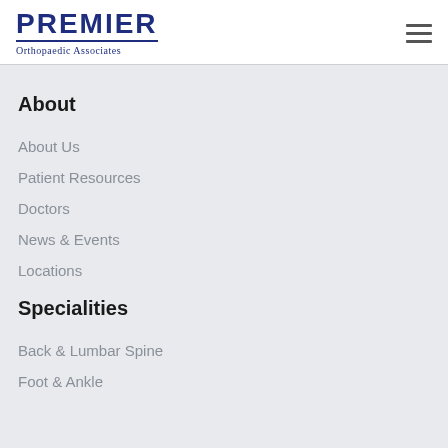[Figure (logo): Premier Orthopaedic Associates logo with bold blue PREMIER text and underline, with 'Orthopaedic Associates' subtitle in serif font]
About
About Us
Patient Resources
Doctors
News & Events
Locations
Specialities
Back & Lumbar Spine
Foot & Ankle